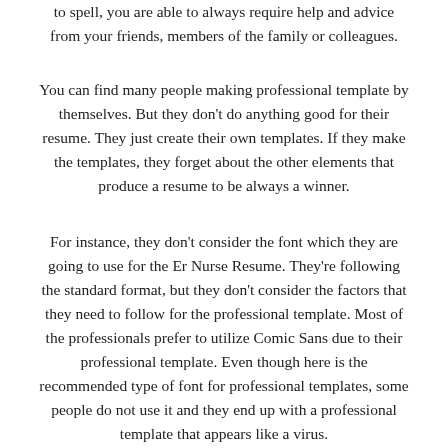to spell, you are able to always require help and advice from your friends, members of the family or colleagues.
You can find many people making professional template by themselves. But they don't do anything good for their resume. They just create their own templates. If they make the templates, they forget about the other elements that produce a resume to be always a winner.
For instance, they don't consider the font which they are going to use for the Er Nurse Resume. They're following the standard format, but they don't consider the factors that they need to follow for the professional template. Most of the professionals prefer to utilize Comic Sans due to their professional template. Even though here is the recommended type of font for professional templates, some people do not use it and they end up with a professional template that appears like a virus.